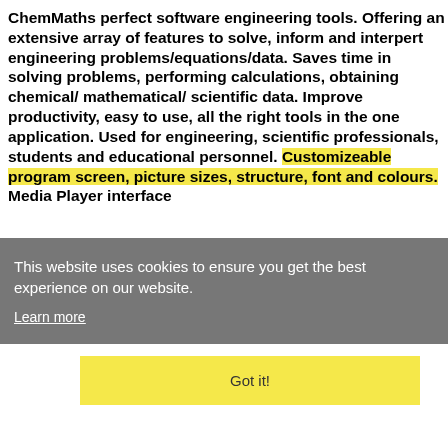ChemMaths perfect software engineering tools. Offering an extensive array of features to solve, inform and interpert engineering problems/equations/data. Saves time in solving problems, performing calculations, obtaining chemical/ mathematical/ scientific data. Improve productivity, easy to use, all the right tools in the one application. Used for engineering, scientific professionals, students and educational personnel. Customizeable program screen, picture sizes, structure, font and colours. Media Player interface
This website uses cookies to ensure you get the best experience on our website.
Learn more
Got it!